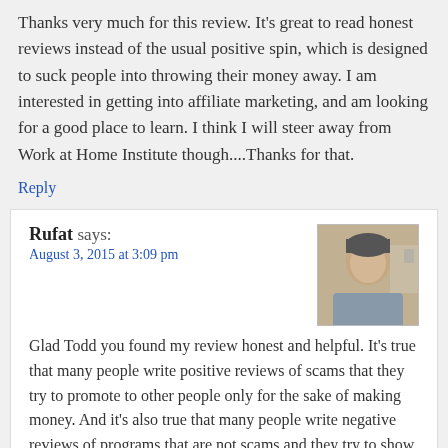Thanks very much for this review. It's great to read honest reviews instead of the usual positive spin, which is designed to suck people into throwing their money away. I am interested in getting into affiliate marketing, and am looking for a good place to learn. I think I will steer away from Work at Home Institute though....Thanks for that.
Reply
Rufat says:
August 3, 2015 at 3:09 pm
[Figure (photo): Avatar photo of Rufat, a man in a grey shirt]
Glad Todd you found my review honest and helpful. It's true that many people write positive reviews of scams that they try to promote to other people only for the sake of making money. And it's also true that many people write negative reviews of programs that are not scams and they try to show them as scams only to promote their desired program. I think both approaches are